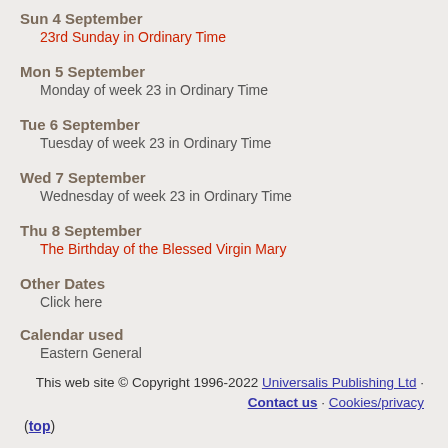Sun 4 September
23rd Sunday in Ordinary Time
Mon 5 September
Monday of week 23 in Ordinary Time
Tue 6 September
Tuesday of week 23 in Ordinary Time
Wed 7 September
Wednesday of week 23 in Ordinary Time
Thu 8 September
The Birthday of the Blessed Virgin Mary
Other Dates
Click here
Calendar used
Eastern General
This web site © Copyright 1996-2022 Universalis Publishing Ltd · Contact us · Cookies/privacy
(top)